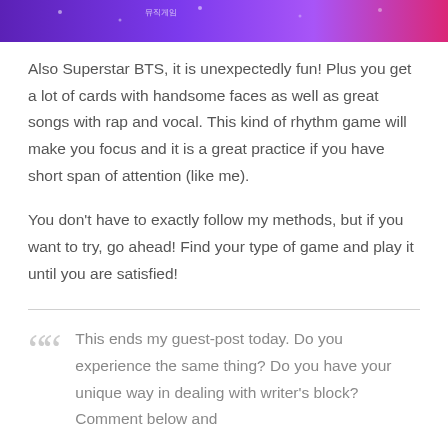[Figure (photo): Partial view of a colorful BTS-themed banner/promotional image with purple and pink tones and illustrated characters]
Also Superstar BTS, it is unexpectedly fun! Plus you get a lot of cards with handsome faces as well as great songs with rap and vocal. This kind of rhythm game will make you focus and it is a great practice if you have short span of attention (like me).
You don't have to exactly follow my methods, but if you want to try, go ahead! Find your type of game and play it until you are satisfied!
This ends my guest-post today. Do you experience the same thing? Do you have your unique way in dealing with writer's block? Comment below and